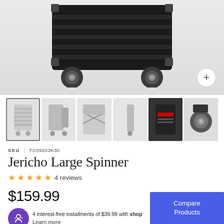[Figure (photo): Main product image: black hard-shell Jericho Large Spinner suitcase shown from below against light gray background, with wheels visible. Plus button overlay in bottom right.]
[Figure (photo): Thumbnail strip showing 6 product images of the Jericho Large Spinner suitcase from various angles: front, 3/4 view, open interior, side profile, detail of lock/zipper, and wheel closeup.]
SKU | TC09203K30
Jericho Large Spinner
★★★★★ 4 reviews
$159.99
4 interest-free installments of $39.99 with shop
Learn more